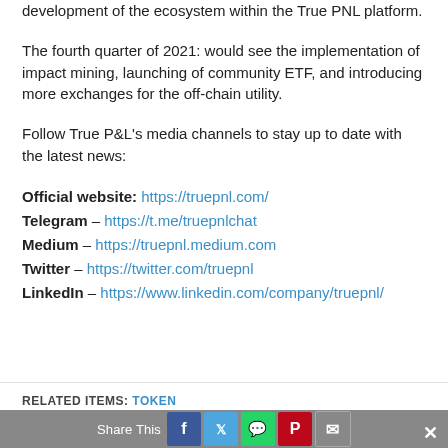development of the ecosystem within the True PNL platform.
The fourth quarter of 2021: would see the implementation of impact mining, launching of community ETF, and introducing more exchanges for the off-chain utility.
Follow True P&L's media channels to stay up to date with the latest news:
Official website: https://truepnl.com/
Telegram – https://t.me/truepnlchat
Medium – https://truepnl.medium.com
Twitter – https://twitter.com/truepnl
LinkedIn – https://www.linkedin.com/company/truepnl/
RELATED ITEMS: TOKEN
Share This